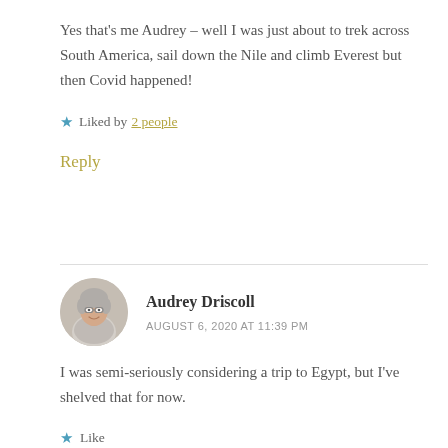Yes that's me Audrey – well I was just about to trek across South America, sail down the Nile and climb Everest but then Covid happened!
★ Liked by 2 people
Reply
Audrey Driscoll
AUGUST 6, 2020 AT 11:39 PM
I was semi-seriously considering a trip to Egypt, but I've shelved that for now.
★ Like